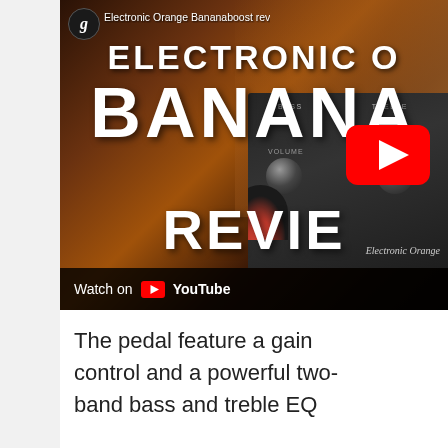[Figure (screenshot): YouTube video thumbnail showing Electronic Orange Bananaboost review. Features a guitar pedal with knobs and the words ELECTRONIC, BANANA, REVIEW overlaid in large white text. A YouTube play button is visible. Below the thumbnail a 'Watch on YouTube' bar is shown.]
The pedal feature a gain control and a powerful two-band bass and treble EQ